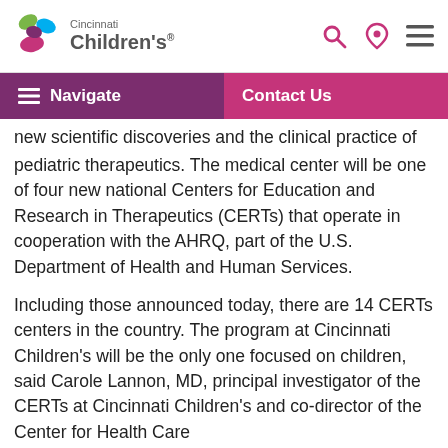Cincinnati Children's
new scientific discoveries and the clinical practice of pediatric therapeutics. The medical center will be one of four new national Centers for Education and Research in Therapeutics (CERTs) that operate in cooperation with the AHRQ, part of the U.S. Department of Health and Human Services.
Including those announced today, there are 14 CERTs centers in the country. The program at Cincinnati Children's will be the only one focused on children, said Carole Lannon, MD, principal investigator of the CERTs at Cincinnati Children's and co-director of the Center for Health Care